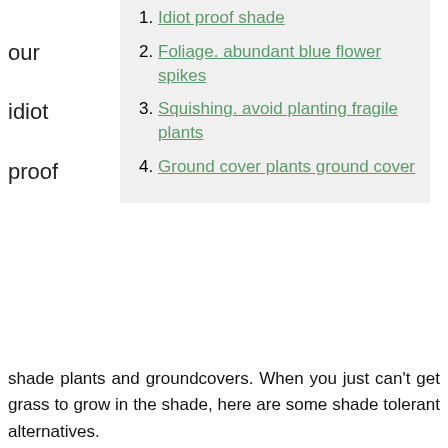1. Idiot proof shade
2. Foliage. abundant blue flower spikes
3. Squishing. avoid planting fragile plants
4. Ground cover plants ground cover
our idiot proof
shade plants and groundcovers. When you just can't get grass to grow in the shade, here are some shade tolerant alternatives.
Planting A Flower Garden For Beginners To make them stay, you will have to grow flowers like marigold. Beginners often get intimidated by extreme rhetorics of organic gardening, which tend to look down upon lapses, say, buying a plant from ... Flowers Gardens And Landscapes 2 reviews of Flowers' Gardens & Landscapes "I am very satisfied with the